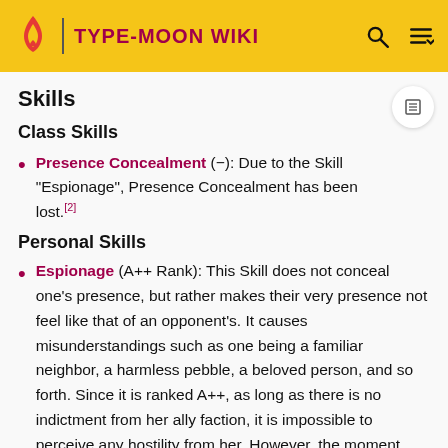TYPE-MOON WIKI
Skills
Class Skills
Presence Concealment (−): Due to the Skill "Espionage", Presence Concealment has been lost.[2]
Personal Skills
Espionage (A++ Rank): This Skill does not conceal one's presence, but rather makes their very presence not feel like that of an opponent's. It causes misunderstandings such as one being a familiar neighbor, a harmless pebble, a beloved person, and so forth. Since it is ranked A++, as long as there is no indictment from her ally faction, it is impossible to perceive any hostility from her. However, the moment